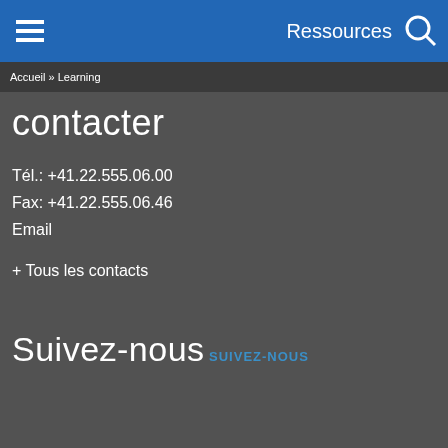Ressources
Accueil » Learning
contacter
Tél.: +41.22.555.06.00
Fax: +41.22.555.06.46
Email
+ Tous les contacts
Suivez-nous
SUIVEZ-NOUS